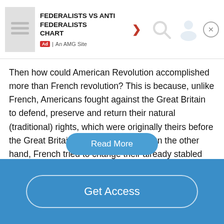[Figure (infographic): Advertisement banner: 'FEDERALISTS VS ANTI FEDERALISTS CHART' on an AMG Site, with thumbnail, red arrow, search icon, person icon, and close button.]
Then how could American Revolution accomplished more than French revolution? This is because, unlike French, Americans fought against the Great Britain to defend, preserve and return their natural (traditional) rights, which were originally theirs before the Great Britain colonized the land. On the other hand, French tried to change their already stabled government into government based on equality, liberty and fraternity, which is not existed at first (also called abstraction). Therefore it might be not as easy as change not stabled government into stabled…
Read More
Get Access